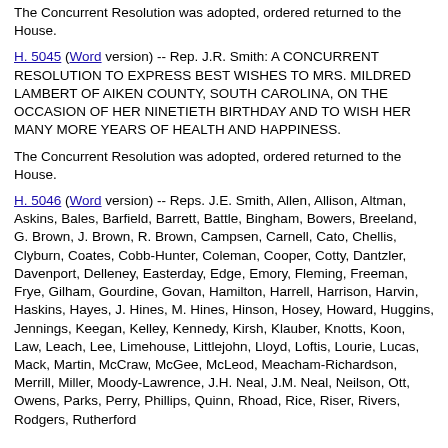The Concurrent Resolution was adopted, ordered returned to the House.
H. 5045 (Word version) -- Rep. J.R. Smith: A CONCURRENT RESOLUTION TO EXPRESS BEST WISHES TO MRS. MILDRED LAMBERT OF AIKEN COUNTY, SOUTH CAROLINA, ON THE OCCASION OF HER NINETIETH BIRTHDAY AND TO WISH HER MANY MORE YEARS OF HEALTH AND HAPPINESS.
The Concurrent Resolution was adopted, ordered returned to the House.
H. 5046 (Word version) -- Reps. J.E. Smith, Allen, Allison, Altman, Askins, Bales, Barfield, Barrett, Battle, Bingham, Bowers, Breeland, G. Brown, J. Brown, R. Brown, Campsen, Carnell, Cato, Chellis, Clyburn, Coates, Cobb-Hunter, Coleman, Cooper, Cotty, Dantzler, Davenport, Delleney, Easterday, Edge, Emory, Fleming, Freeman, Frye, Gilham, Gourdine, Govan, Hamilton, Harrell, Harrison, Harvin, Haskins, Hayes, J. Hines, M. Hines, Hinson, Hosey, Howard, Huggins, Jennings, Keegan, Kelley, Kennedy, Kirsh, Klauber, Knotts, Koon, Law, Leach, Lee, Limehouse, Littlejohn, Lloyd, Loftis, Lourie, Lucas, Mack, Martin, McCraw, McGee, McLeod, Meacham-Richardson, Merrill, Miller, Moody-Lawrence, J.H. Neal, J.M. Neal, Neilson, Ott, Owens, Parks, Perry, Phillips, Quinn, Rhoad, Rice, Riser, Rivers, Rodgers, Rutherford